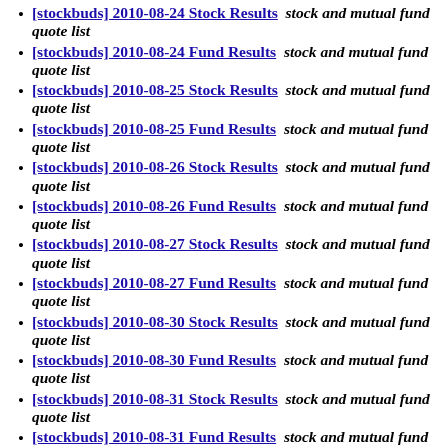[stockbuds] 2010-08-24 Stock Results  stock and mutual fund quote list
[stockbuds] 2010-08-24 Fund Results  stock and mutual fund quote list
[stockbuds] 2010-08-25 Stock Results  stock and mutual fund quote list
[stockbuds] 2010-08-25 Fund Results  stock and mutual fund quote list
[stockbuds] 2010-08-26 Stock Results  stock and mutual fund quote list
[stockbuds] 2010-08-26 Fund Results  stock and mutual fund quote list
[stockbuds] 2010-08-27 Stock Results  stock and mutual fund quote list
[stockbuds] 2010-08-27 Fund Results  stock and mutual fund quote list
[stockbuds] 2010-08-30 Stock Results  stock and mutual fund quote list
[stockbuds] 2010-08-30 Fund Results  stock and mutual fund quote list
[stockbuds] 2010-08-31 Stock Results  stock and mutual fund quote list
[stockbuds] 2010-08-31 Fund Results  stock and mutual fund quote list